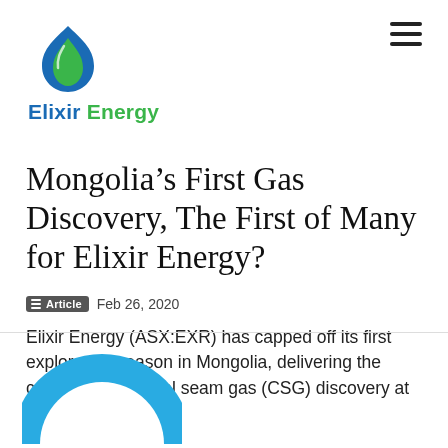[Figure (logo): Elixir Energy logo: blue and green flame/droplet icon above the text 'Elixir Energy' in blue and green]
Mongolia’s First Gas Discovery, The First of Many for Elixir Energy?
Article  Feb 26, 2020
Elixir Energy (ASX:EXR) has capped off its first exploration season in Mongolia, delivering the country its first coal seam gas (CSG) discovery at the Nomgon-1 well.
[Figure (logo): Partial circular blue logo visible at the bottom of the page]